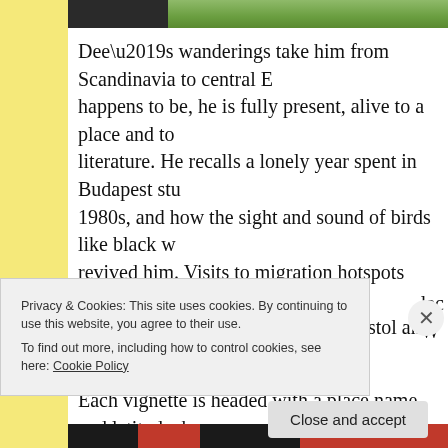[Figure (photo): Top image strip showing green foliage and dark area at top of page]
Dee’s wanderings take him from Scandinavia to central E... happens to be, he is fully present, alive to a place and to... literature. He recalls a lonely year spent in Budapest stu... 1980s, and how the sight and sound of birds like black w... revived him. Visits to migration hotspots like Gibraltar a... everyday jaunts in Ireland or the Bristol and Cambridges...
Each vignette is headed with a place name and latitude, b... recalling springs from decades past or from the work of a... walking companions and mentioned friends are celebrat... their own right (like Julia Blackburn, Mark Cocker, Patric...
Privacy & Cookies: This site uses cookies. By continuing to use this website, you agree to their use.
To find out more, including how to control cookies, see here: Cookie Policy
Close and accept